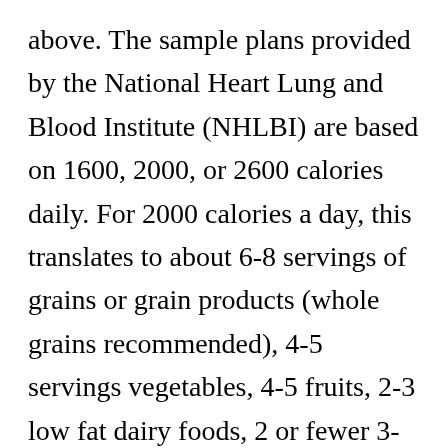above. The sample plans provided by the National Heart Lung and Blood Institute (NHLBI) are based on 1600, 2000, or 2600 calories daily. For 2000 calories a day, this translates to about 6-8 servings of grains or grain products (whole grains recommended), 4-5 servings vegetables, 4-5 fruits, 2-3 low fat dairy foods, 2 or fewer 3-ounce servings of meat, poultry, or fish, 2-3 servings of fats and oils, and 4-5 servings of nuts, seeds, or dry beans per week. It advises limiting sweets and added sugars to 5 servings or less per week.